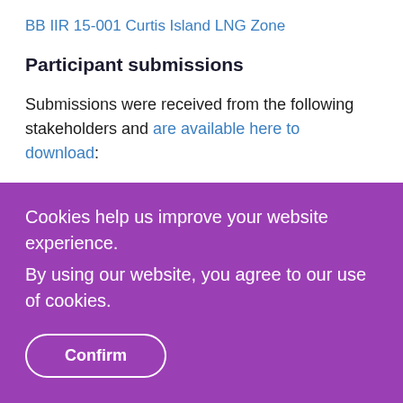BB IIR 15-001 Curtis Island LNG Zone
Participant submissions
Submissions were received from the following stakeholders and are available here to download:
APLNG
Cookies help us improve your website experience. By using our website, you agree to our use of cookies.
Confirm